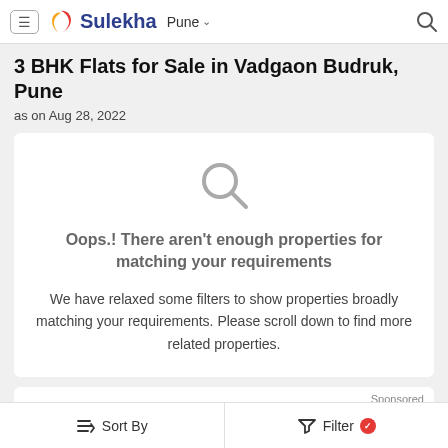Sulekha — Pune
3 BHK Flats for Sale in Vadgaon Budruk, Pune
as on Aug 28, 2022
Oops.! There aren't enough properties for matching your requirements

We have relaxed some filters to show properties broadly matching your requirements. Please scroll down to find more related properties.
Sponsored
3 BHK Flat for Sale in Hinjewadi
Sort By   Filter